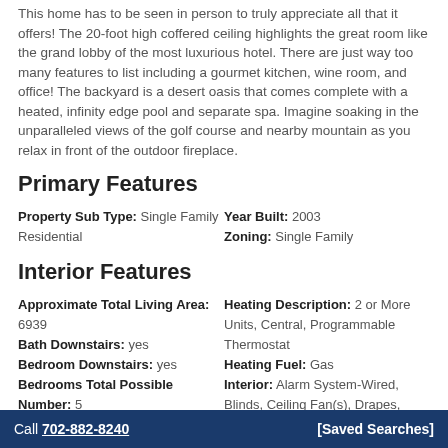This home has to be seen in person to truly appreciate all that it offers! The 20-foot high coffered ceiling highlights the great room like the grand lobby of the most luxurious hotel. There are just way too many features to list including a gourmet kitchen, wine room, and office! The backyard is a desert oasis that comes complete with a heated, infinity edge pool and separate spa. Imagine soaking in the unparalleled views of the golf course and nearby mountain as you relax in front of the outdoor fireplace.
Primary Features
Property Sub Type: Single Family Residential
Year Built: 2003
Zoning: Single Family
Interior Features
Approximate Total Living Area: 6939
Bath Downstairs: yes
Bedroom Downstairs: yes
Bedrooms Total Possible Number: 5
Cooling Description: 2 or More Central Units, Central, Programmable Thermostat
Cooling Fuel: Electric
Heating Description: 2 or More Units, Central, Programmable Thermostat
Heating Fuel: Gas
Interior: Alarm System-Wired, Blinds, Ceiling Fan(s), Drapes, Shutters, Skylight
Master Bedroom Downstairs: yes
Number of Den Other: 1
Call 702-882-8240  [Saved Searches]